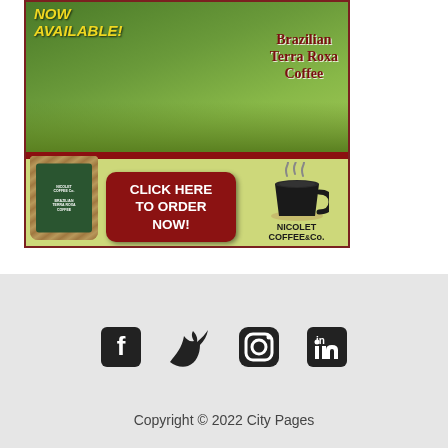[Figure (infographic): Advertisement for Brazilian Terra Roxa Coffee by Nicolet Coffee Co. Shows a farmer with a tray of coffee beans, a bag of coffee product, a dark red 'CLICK HERE TO ORDER NOW!' button, and the Nicolet Coffee Co. logo with a steaming cup. Text at top reads 'NOW AVAILABLE!' and 'Brazilian Terra Roxa Coffee'.]
[Figure (infographic): Social media icons row: Facebook, Twitter, Instagram, LinkedIn in dark/black style on a light gray background footer.]
Copyright © 2022 City Pages